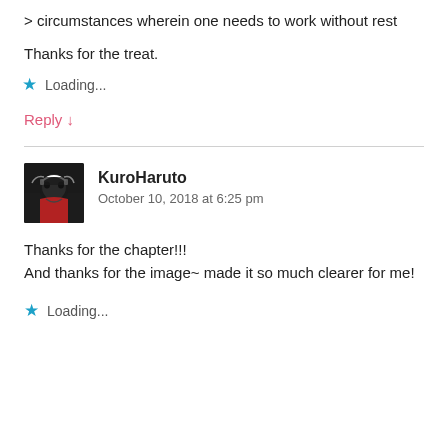> circumstances wherein one needs to work without rest
Thanks for the treat.
Loading...
Reply ↓
KuroHaruto
October 10, 2018 at 6:25 pm
Thanks for the chapter!!!
And thanks for the image~ made it so much clearer for me!
Loading...